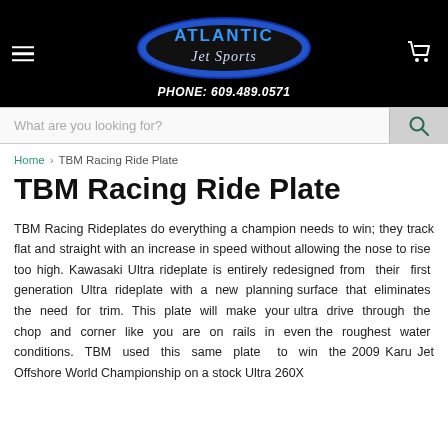[Figure (logo): Atlantic Jet Sports logo with phone number 609.489.0571 on black header background]
What are you looking for?
Home > TBM Racing Ride Plate
TBM Racing Ride Plate
TBM Racing Rideplates do everything a champion needs to win; they track flat and straight with an increase in speed without allowing the nose to rise too high. Kawasaki Ultra rideplate is entirely redesigned from their first generation Ultra rideplate with a new planning surface that eliminates the need for trim. This plate will make your ultra drive through the chop and corner like you are on rails in even the roughest water conditions. TBM used this same plate to win the 2009 Karu Jet Offshore World Championship on a stock Ultra 260X